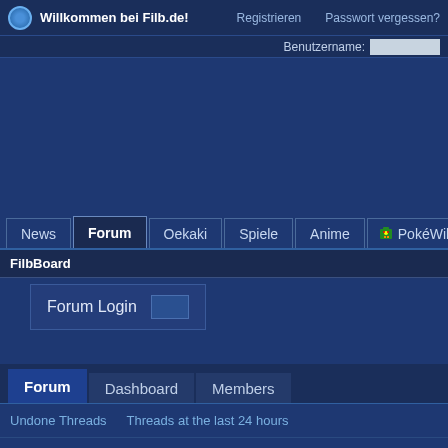Willkommen bei Filb.de!   Registrieren   Passwort vergessen?   Benutzername:
News  Forum  Oekaki  Spiele  Anime  PokéWiki
FilbBoard
Forum Login
Forum  Dashboard  Members
Undone Threads  Threads at the last 24 hours
Filb.de
Neuigkeiten und Informationen